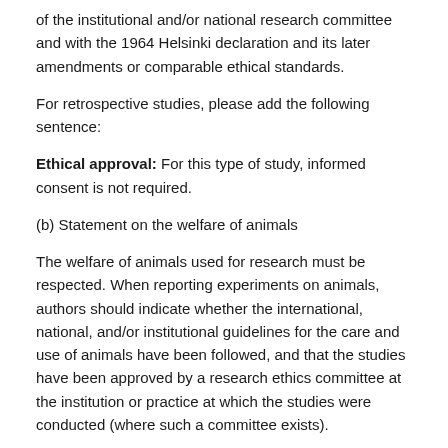of the institutional and/or national research committee and with the 1964 Helsinki declaration and its later amendments or comparable ethical standards.
For retrospective studies, please add the following sentence:
Ethical approval: For this type of study, informed consent is not required.
(b) Statement on the welfare of animals
The welfare of animals used for research must be respected. When reporting experiments on animals, authors should indicate whether the international, national, and/or institutional guidelines for the care and use of animals have been followed, and that the studies have been approved by a research ethics committee at the institution or practice at which the studies were conducted (where such a committee exists).